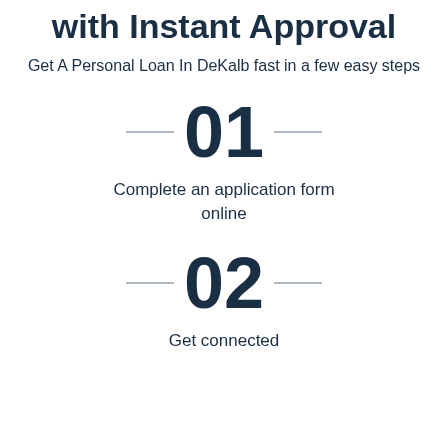with Instant Approval
Get A Personal Loan In DeKalb fast in a few easy steps
01
Complete an application form online
02
Get connected